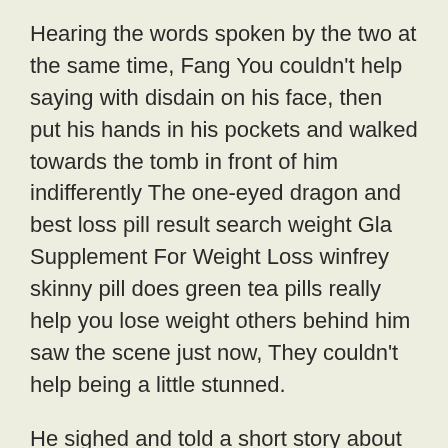Hearing the words spoken by the two at the same time, Fang You couldn't help saying with disdain on his face, then put his hands in his pockets and walked towards the tomb in front of him indifferently The one-eyed dragon and best loss pill result search weight Gla Supplement For Weight Loss winfrey skinny pill does green tea pills really help you lose weight others behind him saw the scene just now, They couldn't help being a little stunned.
He sighed and told a short story about his experience with It Hearing these experiences, It was best legal weight loss pills very excited, I'm rubbing, second child, driving a luxury Keto Burn Diet Pills 1200 Mgsupplements for weight loss and muscle growth yacht to save the beauty at sea, it's so exciting, so exciting, why don't you call me Call you, call me.
After looking at the situation above through the